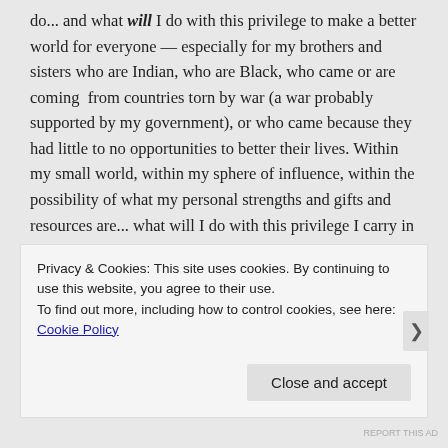do... and what will I do with this privilege to make a better world for everyone — especially for my brothers and sisters who are Indian, who are Black, who came or are coming from countries torn by war (a war probably supported by my government), or who came because they had little to no opportunities to better their lives. Within my small world, within my sphere of influence, within the possibility of what my personal strengths and gifts and resources are... what will I do with this privilege I carry in my skin?
“Fear lives in the head. And courage lives in the heart. The job is to get from one to the other.” — Louise
Privacy & Cookies: This site uses cookies. By continuing to use this website, you agree to their use. To find out more, including how to control cookies, see here: Cookie Policy
Close and accept